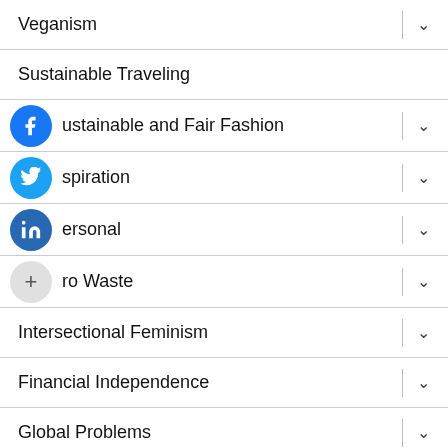Veganism
Sustainable Traveling
Sustainable and Fair Fashion
Inspiration
Personal
Zero Waste
Intersectional Feminism
Financial Independence
Global Problems